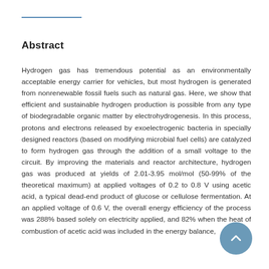Abstract
Hydrogen gas has tremendous potential as an environmentally acceptable energy carrier for vehicles, but most hydrogen is generated from nonrenewable fossil fuels such as natural gas. Here, we show that efficient and sustainable hydrogen production is possible from any type of biodegradable organic matter by electrohydrogenesis. In this process, protons and electrons released by exoelectrogenic bacteria in specially designed reactors (based on modifying microbial fuel cells) are catalyzed to form hydrogen gas through the addition of a small voltage to the circuit. By improving the materials and reactor architecture, hydrogen gas was produced at yields of 2.01-3.95 mol/mol (50-99% of the theoretical maximum) at applied voltages of 0.2 to 0.8 V using acetic acid, a typical dead-end product of glucose or cellulose fermentation. At an applied voltage of 0.6 V, the overall energy efficiency of the process was 288% based solely on electricity applied, and 82% when the heat of combustion of acetic acid was included in the energy balance,